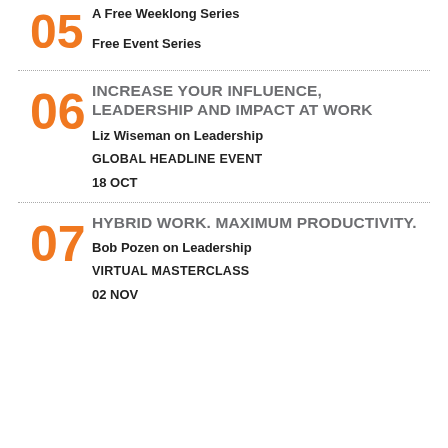05
A Free Weeklong Series
Free Event Series
06
INCREASE YOUR INFLUENCE, LEADERSHIP AND IMPACT AT WORK
Liz Wiseman on Leadership
GLOBAL HEADLINE EVENT
18 OCT
07
HYBRID WORK. MAXIMUM PRODUCTIVITY.
Bob Pozen on Leadership
VIRTUAL MASTERCLASS
02 NOV